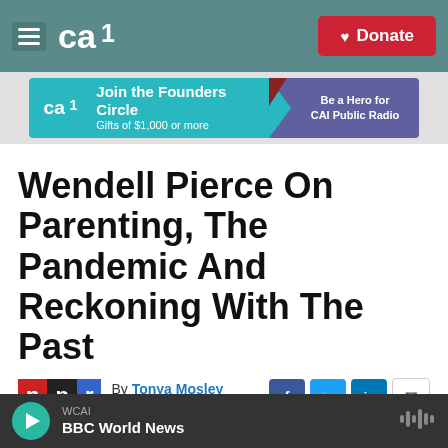[Figure (screenshot): CAI Public Radio navigation bar with hamburger menu, CAI logo, and red Donate button]
[Figure (screenshot): CAI Founders Circle banner ad — teal background with CAI logo, text 'Join the Founders Circle / Gifts of $1,000 or more', dark triangle divider, purple section 'Be a Hero for CAI Public Radio']
Wendell Pierce On Parenting, The Pandemic And Reckoning With The Past
By Tonya Mosley
Published January 15,
[Figure (logo): NPR logo with three colored blocks: red N, black P, blue R]
[Figure (screenshot): Social sharing icons: Facebook, Twitter, LinkedIn, Email]
[Figure (screenshot): Audio player bar — dark background, teal play button, WCAI / BBC World News label, waveform icon]